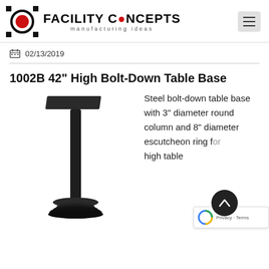FACILITY CONCEPTS manufacturing ideas
02/13/2019
1002B 42" High Bolt-Down Table Base
[Figure (photo): Product photo of a steel bolt-down table base with a round column, flat square top plate, and circular foot base, finished in black.]
Steel bolt-down table base with 3" diameter round column and 8" diameter escutcheon ring for high table